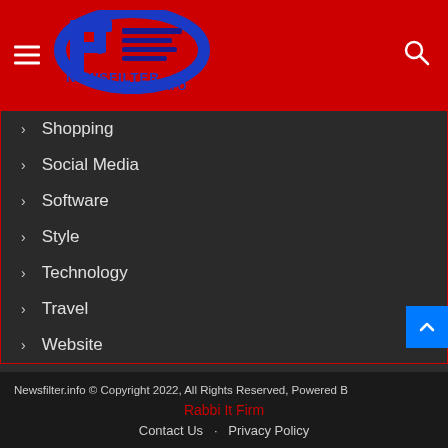[Figure (logo): Newsfilter.info logo with blue/red design on red header bar]
Shopping
Social Media
Software
Style
Technology
Travel
Website
Newsfilter.info © Copyright 2022, All Rights Reserved, Powered B…
Rabbi It Firm
Contact Us   Privacy Policy